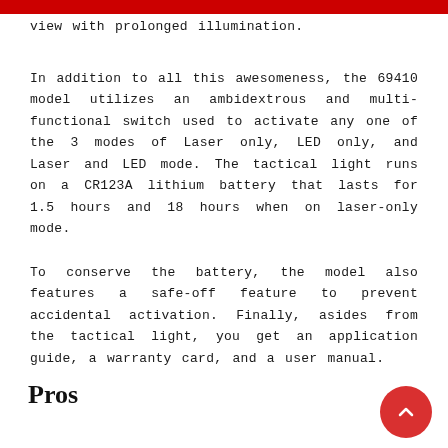view with prolonged illumination.
In addition to all this awesomeness, the 69410 model utilizes an ambidextrous and multi-functional switch used to activate any one of the 3 modes of Laser only, LED only, and Laser and LED mode. The tactical light runs on a CR123A lithium battery that lasts for 1.5 hours and 18 hours when on laser-only mode.
To conserve the battery, the model also features a safe-off feature to prevent accidental activation. Finally, asides from the tactical light, you get an application guide, a warranty card, and a user manual.
Pros